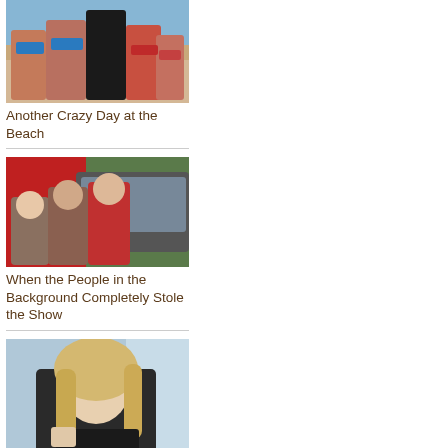[Figure (photo): Group of women in bikinis at the beach with a man dressed in black behind them]
Another Crazy Day at the Beach
[Figure (photo): Two girls and a young man posing in front of a car, red wall in background, people in background]
When the People in the Background Completely Stole the Show
[Figure (photo): Young blonde woman with long hair, wearing a black off-shoulder top, celebrity child portrait]
Celebrity Kids Who